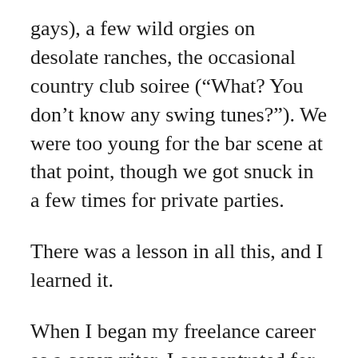gays), a few wild orgies on desolate ranches, the occasional country club soiree (“What? You don’t know any swing tunes?”). We were too young for the bar scene at that point, though we got snuck in a few times for private parties.
There was a lesson in all this, and I learned it.
When I began my freelance career as a copywriter, I concentrated for a very long time on getting “ready” for the first gigs — by speed-reading books on advertising